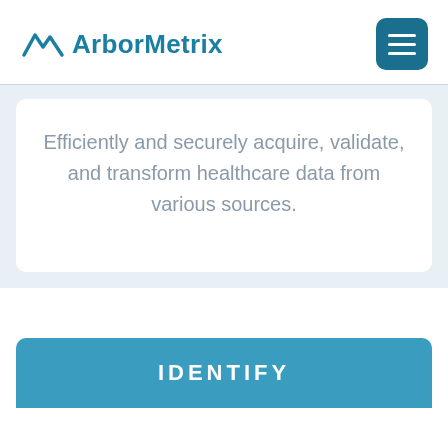[Figure (logo): ArborMetrix logo with mountain/peak icon in teal blue, text 'ArborMetrix' in teal bold font]
[Figure (other): Hamburger menu button, teal square with three white horizontal lines]
Efficiently and securely acquire, validate, and transform healthcare data from various sources.
IDENTIFY